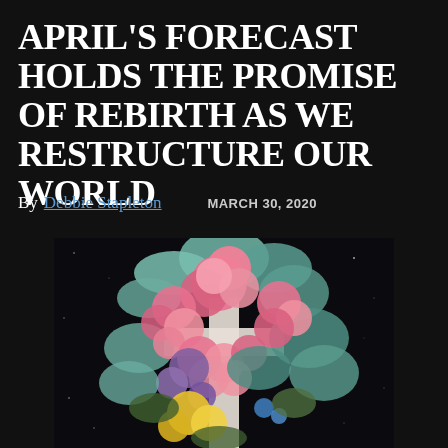APRIL'S FORECAST HOLDS THE PROMISE OF REBIRTH AS WE RESTRUCTURE OUR WORLD
By Debbie Stapleton   MARCH 30, 2020
[Figure (photo): A floral collage artwork showing a human figure or cross-like form covered in large colorful flowers including pink roses, succulents, yellow roses, and purple blooms against a dark starry background.]